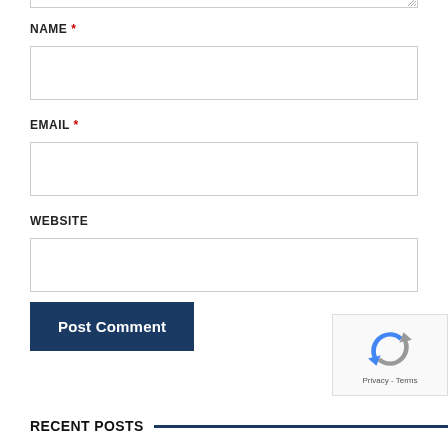NAME *
[Figure (other): Empty text input field for NAME]
EMAIL *
[Figure (other): Empty text input field for EMAIL]
WEBSITE
[Figure (other): Empty text input field for WEBSITE]
[Figure (other): Post Comment button - dark navy blue button]
[Figure (other): reCAPTCHA widget with Google logo and Privacy - Terms text]
RECENT POSTS